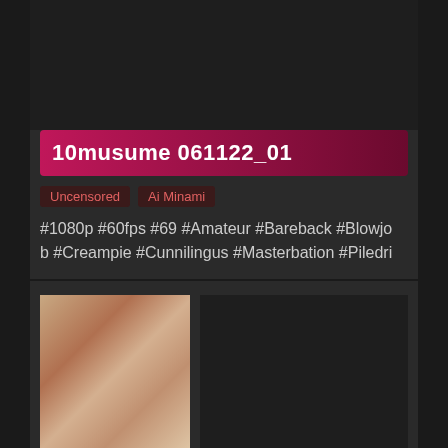10musume 061122_01
Uncensored
Ai Minami
#1080p #60fps #69 #Amateur #Bareback #Blowjob #Creampie #Cunnilingus #Masterbation #Piledri
[Figure (photo): Thumbnail image placeholder]